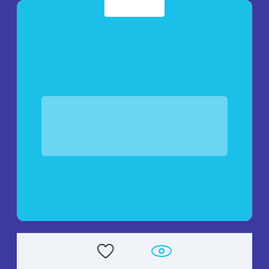[Figure (screenshot): Minecraft block preview card showing a light blue background with a white rounded rectangle overlay and a lighter blue inner rectangle, representing the bonny block asset preview.]
bonny block
Minecraft Block for Minecraft Java Edition | by Carter
bonny block was remixed from Diamond Block.
REMIX BLOCK
[Figure (illustration): Bottom strip with a heart (like) icon and an eye (view) icon.]